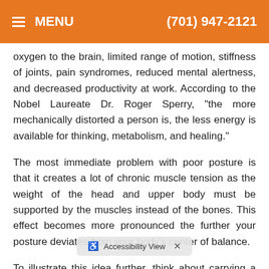≡ MENU   (701) 947-2121
oxygen to the brain, limited range of motion, stiffness of joints, pain syndromes, reduced mental alertness, and decreased productivity at work. According to the Nobel Laureate Dr. Roger Sperry, "the more mechanically distorted a person is, the less energy is available for thinking, metabolism, and healing."
The most immediate problem with poor posture is that it creates a lot of chronic muscle tension as the weight of the head and upper body must be supported by the muscles instead of the bones. This effect becomes more pronounced the further your posture deviates from your body's center of balance.
To illustrate this idea further, think about carrying a briefcase. If you had                               with your